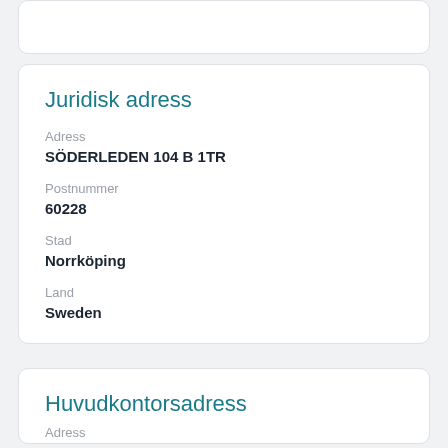Juridisk adress
Adress
SÖDERLEDEN 104 B 1TR
Postnummer
60228
Stad
Norrköping
Land
Sweden
Huvudkontorsadress